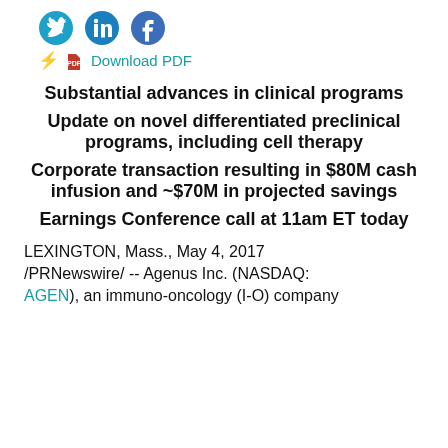[Figure (other): Social media icons: Twitter, LinkedIn, Facebook]
Download PDF
Substantial advances in clinical programs
Update on novel differentiated preclinical programs, including cell therapy
Corporate transaction resulting in $80M cash infusion and ~$70M in projected savings
Earnings Conference call at 11am ET today
LEXINGTON, Mass., May 4, 2017 /PRNewswire/ -- Agenus Inc. (NASDAQ: AGEN), an immuno-oncology (I-O) company